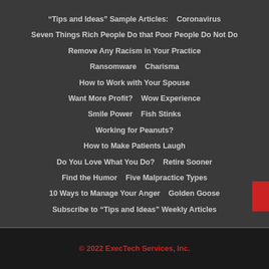“Tips and Ideas” Sample Articles:    Coronavirus
Seven Things Rich People Do that Poor People Do Not Do
Remove Any Racism in Your Practice
Ransomware    Charisma
How to Work with Your Spouse
Want More Profit?    Wow Experience
Smile Power    Fish Stinks
Working for Peanuts?
How to Make Patients Laugh
Do You Love What You Do?    Retire Sooner
Find the Humor    Five Malpractice Types
10 Ways to Manage Your Anger    Golden Goose
Subscribe to “Tips and Ideas” Weekly Articles
© 2022 ExecTech Services, Inc.